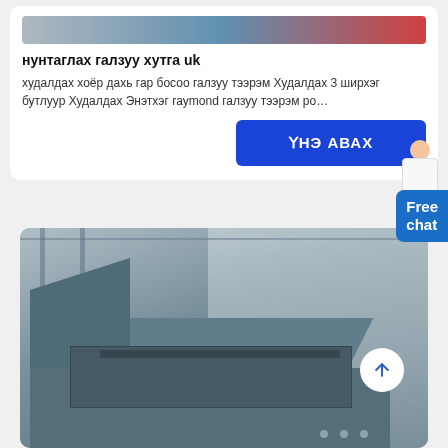[Figure (photo): Top portion of machinery product image, partially visible at top of page]
нунтаглах галзуу хутга uk
худалдах хоёр дахь гар босоо галзуу тээрэм Худалдах 3 ширхэг бутлуур Худалдах Энэтхэг raymond галзуу тээрэм ро…
ҮНЭ АВАХ
[Figure (photo): Industrial vibratory screen / feeder machine in a warehouse setting, large gray metal hopper structure]
Free chat
Get a Quote
WhatsApp